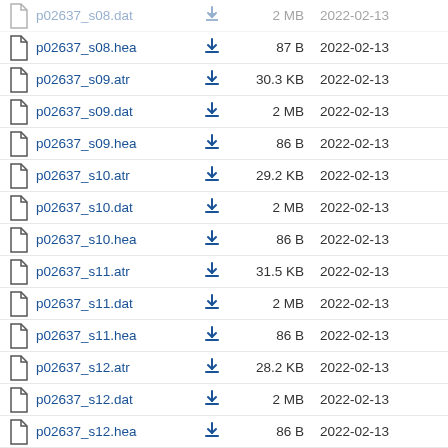p02637_s08.dat  2 MB  2022-02-13
p02637_s08.hea  87 B  2022-02-13
p02637_s09.atr  30.3 KB  2022-02-13
p02637_s09.dat  2 MB  2022-02-13
p02637_s09.hea  86 B  2022-02-13
p02637_s10.atr  29.2 KB  2022-02-13
p02637_s10.dat  2 MB  2022-02-13
p02637_s10.hea  86 B  2022-02-13
p02637_s11.atr  31.5 KB  2022-02-13
p02637_s11.dat  2 MB  2022-02-13
p02637_s11.hea  86 B  2022-02-13
p02637_s12.atr  28.2 KB  2022-02-13
p02637_s12.dat  2 MB  2022-02-13
p02637_s12.hea  86 B  2022-02-13